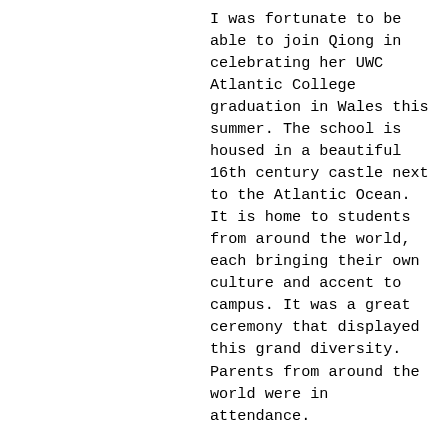I was fortunate to be able to join Qiong in celebrating her UWC Atlantic College graduation in Wales this summer. The school is housed in a beautiful 16th century castle next to the Atlantic Ocean. It is home to students from around the world, each bringing their own culture and accent to campus. It was a great ceremony that displayed this grand diversity. Parents from around the world were in attendance.
At the same time as Qiong's graduation in Wales, Tina Fu graduated from the Li Po Chun United World College of Hong Kong. These graduations from UWC mark huge accomplishments on their paths to bright futures that they can now determine for themselves.
This coming August, Qiong will be attending Macalester College in Minnesota and Tina will be attending Earlham College in Indiana. Both have received full scholarships from their schools.